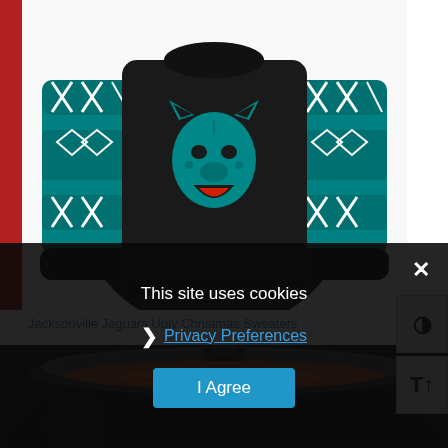[Figure (photo): Jacksonville Jaguars ugly Christmas sweater displayed on a white background. The sweater is black with teal sleeves featuring a Nordic/Fair Isle pattern in white and black. A teal jaguar head logo is printed on the chest.]
Jacksonville Jaguars Ugly Christmas Sweaters
[Figure (photo): A slow cooker / Crock-Pot with a glass lid, showing food (appears to be lasagna or a casserole) inside, photographed from above at an angle. The slow cooker is black.]
This site uses cookies
Privacy Preferences
I Agree